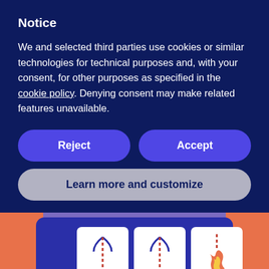Notice
We and selected third parties use cookies or similar technologies for technical purposes and, with your consent, for other purposes as specified in the cookie policy. Denying consent may make related features unavailable.
[Figure (other): Two buttons side by side: 'Reject' (left) and 'Accept' (right), both pill-shaped with blue background and white bold text]
[Figure (other): Full-width pill-shaped button with grey background and dark blue bold text: 'Learn more and customize']
[Figure (illustration): Partial illustration of a slot machine with three panels showing IUD/contraceptive device icons and a flame icon, orange frame, purple background, orange dots at bottom]